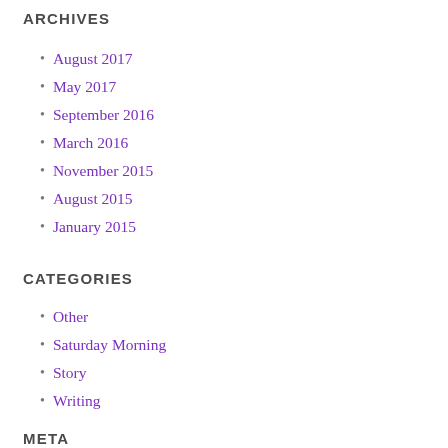ARCHIVES
August 2017
May 2017
September 2016
March 2016
November 2015
August 2015
January 2015
CATEGORIES
Other
Saturday Morning
Story
Writing
META